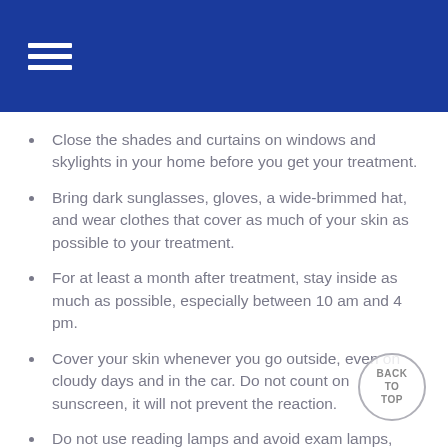Close the shades and curtains on windows and skylights in your home before you get your treatment.
Bring dark sunglasses, gloves, a wide-brimmed hat, and wear clothes that cover as much of your skin as possible to your treatment.
For at least a month after treatment, stay inside as much as possible, especially between 10 am and 4 pm.
Cover your skin whenever you go outside, even on cloudy days and in the car. Do not count on sunscreen, it will not prevent the reaction.
Do not use reading lamps and avoid exam lamps, such as the type a dentist uses.
Do not use helmet-type hair dryers like those in hair